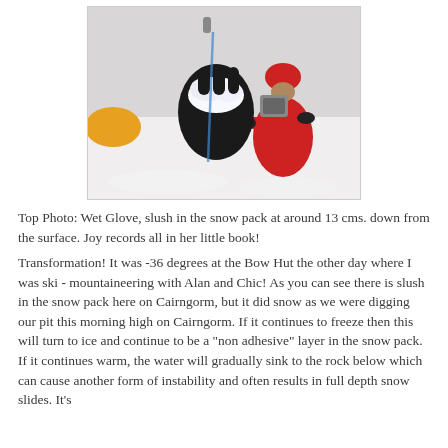[Figure (photo): A person in a red jacket and red hat examines a wet black glove with snow/slush on it. Another person with a yellow glove is visible on the left. The scene is outdoors in snowy winter conditions.]
Top Photo: Wet Glove, slush in the snow pack at around 13 cms. down from the surface. Joy records all in her little book!
Transformation! It was -36 degrees at the Bow Hut the other day where I was ski - mountaineering with Alan and Chic! As you can see there is slush in the snow pack here on Cairngorm, but it did snow as we were digging our pit this morning high on Cairngorm. If it continues to freeze then this will turn to ice and continue to be a "non adhesive" layer in the snow pack. If it continues warm, the water will gradually sink to the rock below which can cause another form of instability and often results in full depth snow slides. It's